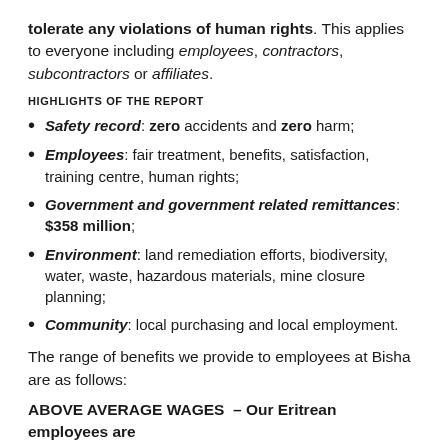tolerate any violations of human rights. This applies to everyone including employees, contractors, subcontractors or affiliates.
HIGHLIGHTS OF THE REPORT
Safety record: zero accidents and zero harm;
Employees: fair treatment, benefits, satisfaction, training centre, human rights;
Government and government related remittances: $358 million;
Environment: land remediation efforts, biodiversity, water, waste, hazardous materials, mine closure planning;
Community: local purchasing and local employment.
The range of benefits we provide to employees at Bisha are as follows:
ABOVE AVERAGE WAGES – Our Eritrean employees are